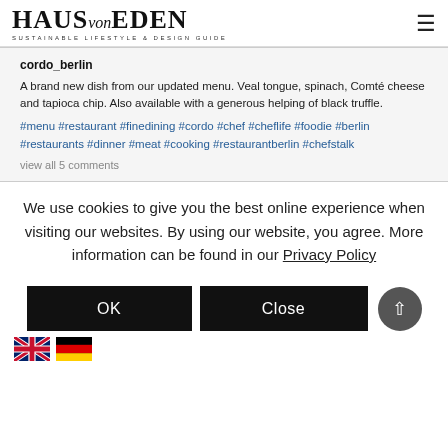HAUS von EDEN — SUSTAINABLE LIFESTYLE & DESIGN GUIDE
cordo_berlin

A brand new dish from our updated menu. Veal tongue, spinach, Comté cheese and tapioca chip. Also available with a generous helping of black truffle.
#menu #restaurant #finedining #cordo #chef #cheflife #foodie #berlin #restaurants #dinner #meat #cooking #restaurantberlin #chefstalk

view all 5 comments
We use cookies to give you the best online experience when visiting our websites. By using our website, you agree. More information can be found in our Privacy Policy
OK   Close